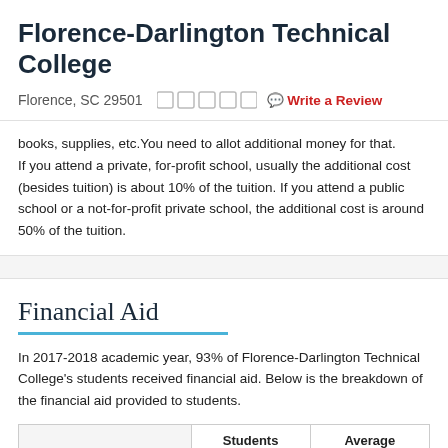Florence-Darlington Technical College
Florence, SC 29501
books, supplies, etc. You need to allot additional money for that. If you attend a private, for-profit school, usually the additional cost (besides tuition) is about 10% of the tuition. If you attend a public school or a not-for-profit private school, the additional cost is around 50% of the tuition.
Financial Aid
In 2017-2018 academic year, 93% of Florence-Darlington Technical College's students received financial aid. Below is the breakdown of the financial aid provided to students.
|  | Students Receiving Aid | Average Amount/Student |
| --- | --- | --- |